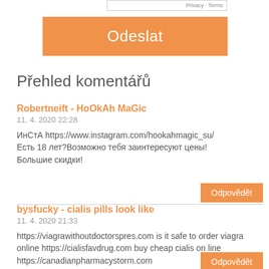[Figure (screenshot): Partial form widget showing 'Privacy · Terms' text in top-right corner]
Odeslat
Přehled komentářů
Robertneift - HoOkAh MaGic
11. 4. 2020 22:28
ИнСтА https://www.instagram.com/hookahmagic_su/ Есть 18 лет?Возможно тебя заинтересуют цены! Большие скидки!
Odpovědět
bysfucky - cialis pills look like
11. 4. 2020 21:33
https://viagrawithoutdoctorspres.com is it safe to order viagra online https://cialisfavdrug.com buy cheap cialis on line https://canadianpharmacystorm.com
Odpovědět